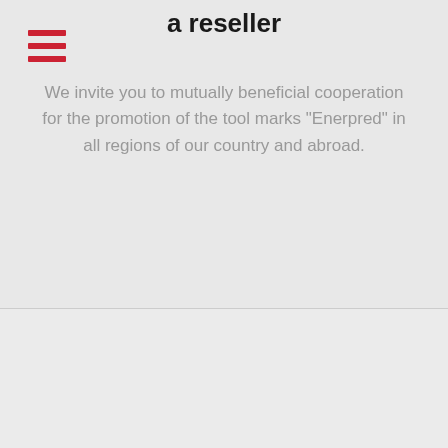a reseller
We invite you to mutually beneficial cooperation for the promotion of the tool marks "Enerpred" in all regions of our country and abroad.
[Figure (other): Red 'Send request' button]
[Figure (illustration): Teal/cyan download icon showing a document with a downward arrow badge]
Download